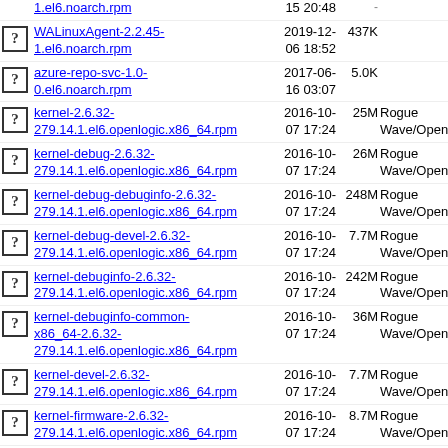1.el6.noarch.rpm  15 20:48
WALinuxAgent-2.2.45-1.el6.noarch.rpm  2019-12-06 18:52  437K
azure-repo-svc-1.0-0.el6.noarch.rpm  2017-06-16 03:07  5.0K
kernel-2.6.32-279.14.1.el6.openlogic.x86_64.rpm  2016-10-07 17:24  25M  Rogue Wave/Open
kernel-debug-2.6.32-279.14.1.el6.openlogic.x86_64.rpm  2016-10-07 17:24  26M  Rogue Wave/Open
kernel-debug-debuginfo-2.6.32-279.14.1.el6.openlogic.x86_64.rpm  2016-10-07 17:24  248M  Rogue Wave/Open
kernel-debug-devel-2.6.32-279.14.1.el6.openlogic.x86_64.rpm  2016-10-07 17:24  7.7M  Rogue Wave/Open
kernel-debuginfo-2.6.32-279.14.1.el6.openlogic.x86_64.rpm  2016-10-07 17:24  242M  Rogue Wave/Open
kernel-debuginfo-common-x86_64-2.6.32-279.14.1.el6.openlogic.x86_64.rpm  2016-10-07 17:24  36M  Rogue Wave/Open
kernel-devel-2.6.32-279.14.1.el6.openlogic.x86_64.rpm  2016-10-07 17:24  7.7M  Rogue Wave/Open
kernel-firmware-2.6.32-279.14.1.el6.openlogic.x86_64.rpm  2016-10-07 17:24  8.7M  Rogue Wave/Open
kernel-headers-2.6.32-  2016-10-  Rogue